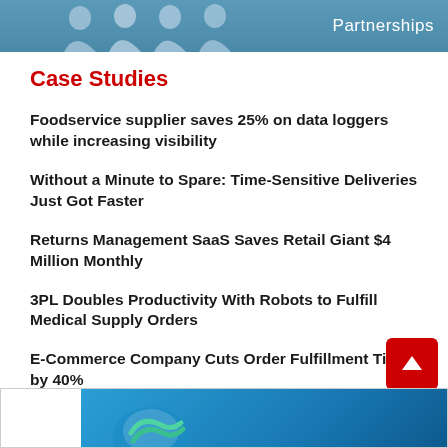Partnerships
Case Studies
Foodservice supplier saves 25% on data loggers while increasing visibility
Without a Minute to Spare: Time-Sensitive Deliveries Just Got Faster
Returns Management SaaS Saves Retail Giant $4 Million Monthly
3PL Doubles Productivity With Robots to Fulfill Medical Supply Orders
E-Commerce Company Cuts Order Fulfillment Time by 40%
[Figure (photo): Partial footer image with blue background and a logo/graphic visible at the bottom of the page]